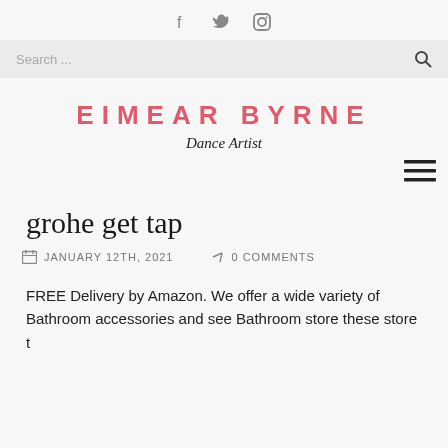f  twitter  instagram (social icons)
Search ...
EIMEAR BYRNE
Dance Artist
grohe get tap
JANUARY 12TH, 2021   0 COMMENTS
FREE Delivery by Amazon. We offer a wide variety of Bathroom accessories and see Bathroom store these store...